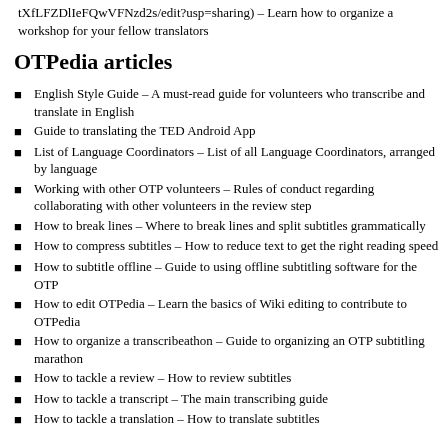tXfLFZDlIeFQwVFNzd2s/edit?usp=sharing) – Learn how to organize a workshop for your fellow translators
OTPedia articles
English Style Guide – A must-read guide for volunteers who transcribe and translate in English
Guide to translating the TED Android App
List of Language Coordinators – List of all Language Coordinators, arranged by language
Working with other OTP volunteers – Rules of conduct regarding collaborating with other volunteers in the review step
How to break lines – Where to break lines and split subtitles grammatically
How to compress subtitles – How to reduce text to get the right reading speed
How to subtitle offline – Guide to using offline subtitling software for the OTP
How to edit OTPedia – Learn the basics of Wiki editing to contribute to OTPedia
How to organize a transcribeathon – Guide to organizing an OTP subtitling marathon
How to tackle a review – How to review subtitles
How to tackle a transcript – The main transcribing guide
How to tackle a translation – How to translate subtitles